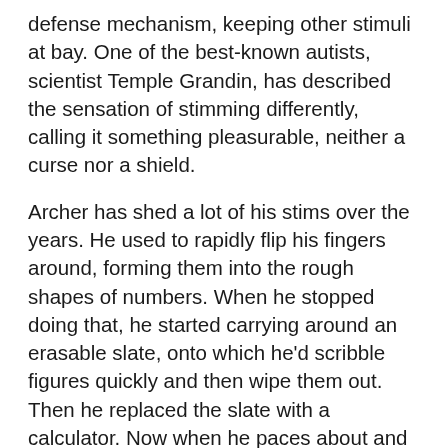defense mechanism, keeping other stimuli at bay. One of the best-known autists, scientist Temple Grandin, has described the sensation of stimming differently, calling it something pleasurable, neither a curse nor a shield.
Archer has shed a lot of his stims over the years. He used to rapidly flip his fingers around, forming them into the rough shapes of numbers. When he stopped doing that, he started carrying around an erasable slate, onto which he'd scribble figures quickly and then wipe them out. Then he replaced the slate with a calculator. Now when he paces about and talks to himself, he's often doing advanced calculations in his head.
But while Archer looks literally lost in thought when he's stimming, he can snap back to attention in an